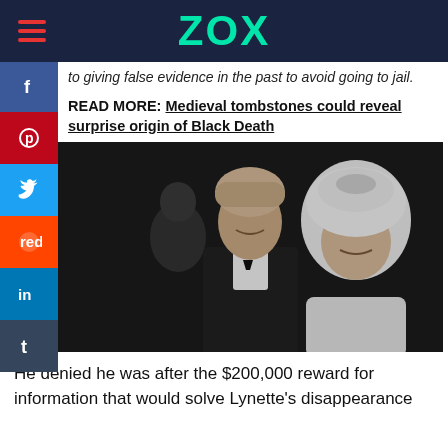ZOX
to giving false evidence in the past to avoid going to jail.
READ MORE: Medieval tombstones could reveal surprise origin of Black Death
[Figure (photo): Black and white wedding photo of a young couple; groom in tuxedo with bow tie, bride in white dress and veil, another person visible in background]
He denied he was after the $200,000 reward for information that would solve Lynette's disappearance